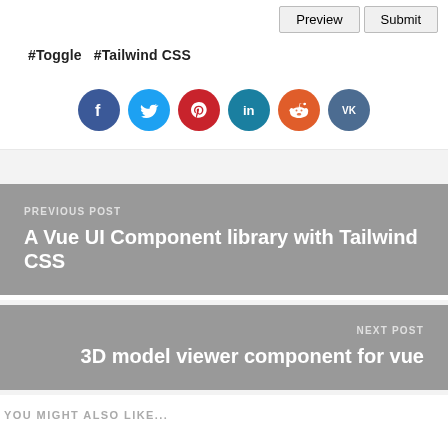Preview  Submit
#Toggle  #Tailwind CSS
[Figure (infographic): Social media share buttons: Facebook (dark blue), Twitter (light blue), Pinterest (red), LinkedIn (teal), Reddit (orange-red), VK (dark teal)]
PREVIOUS POST
A Vue UI Component library with Tailwind CSS
NEXT POST
3D model viewer component for vue
YOU MIGHT ALSO LIKE...